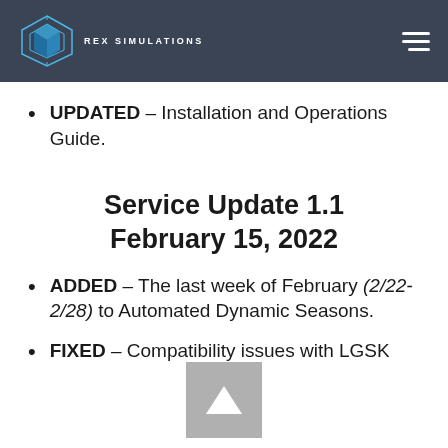REX SIMULATIONS
UPDATED – Installation and Operations Guide.
Service Update 1.1
February 15, 2022
ADDED – The last week of February (2/22-2/28) to Automated Dynamic Seasons.
FIXED – Compatibility issues with LGSK